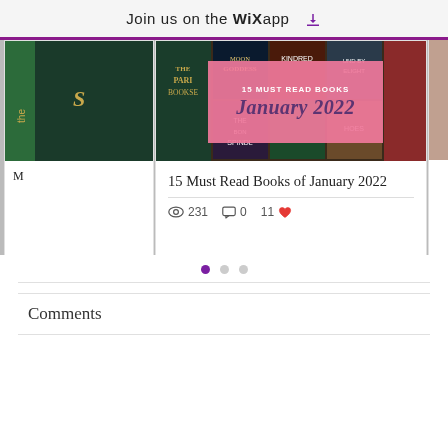Join us on the WiX app
[Figure (photo): Blog post card carousel showing book collage image with pink overlay text '15 MUST READ BOOKS January 2022'. Left and right partial cards visible. Main card shows collage of book covers including The Paris Bookseller, Moon Goddess, Kindred, The Bone Spindle, and others.]
15 Must Read Books of January 2022
231 views  0 comments  11 likes
Comments